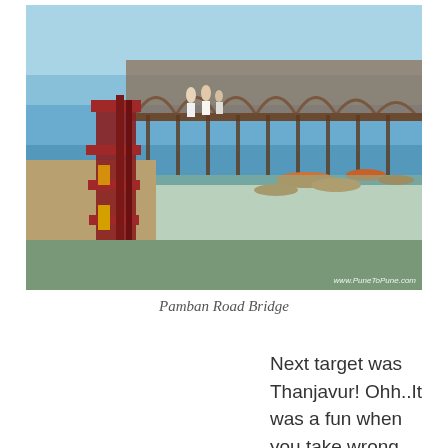[Figure (photo): Photograph of Pamban Road Bridge showing the bridge walkway with red railings in the foreground, people walking, and the long bridge structure extending into the sea with arched supports. Fishing boats visible near shore. Watermark: www.PuneToPune.com]
Pamban Road Bridge
Next target was Thanjavur! Ohh..It was a fun when you take wrong route. I got confused between